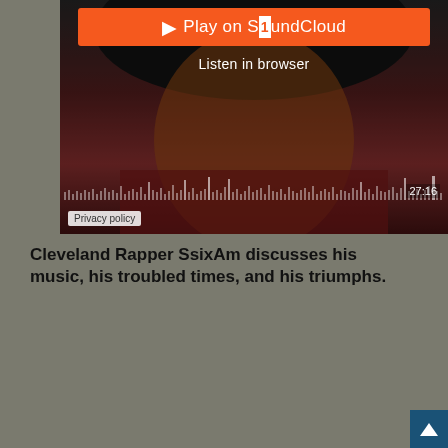[Figure (screenshot): SoundCloud embedded player with orange 'Play on SoundCloud' button, 'Listen in browser' text, audio waveform visualization, timestamp 27:16, and a photo of a woman in the background. Privacy policy badge at bottom left.]
Cleveland Rapper SsixAm discusses his music, his troubled times, and his triumphs.
[Figure (screenshot): YouTube embedded video player showing 'Ssix AM Full Interview' with channel thumbnail, three-dot menu, and video thumbnail showing a man smiling with a red YouTube play button overlay.]